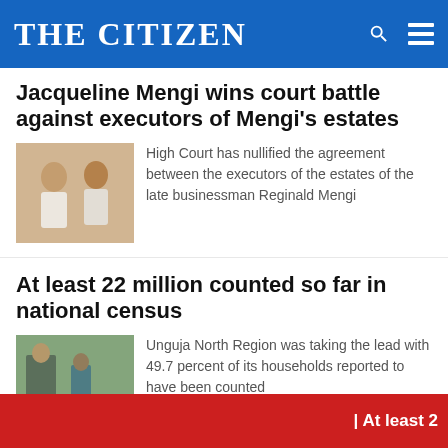THE CITIZEN
Jacqueline Mengi wins court battle against executors of Mengi's estates
High Court has nullified the agreement between the executors of the estates of the late businessman Reginald Mengi
At least 22 million counted so far in national census
Unguja North Region was taking the lead with 49.7 percent of its households reported to have been counted
| At least 2